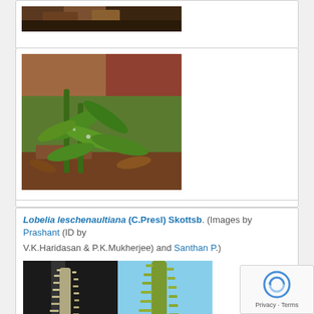[Figure (photo): Partial top card showing a dark brown plant/soil close-up photograph]
[Figure (photo): Green plant with elongated leaves on rocky/leaf-litter ground, botanical specimen photo]
Lobelia leschenaultiana (C.Presl) Skottsb. (Images by Prashant (ID by V.K.Haridasan & P.K.Mukherjee) and Santhan P.)
[Figure (photo): Two side-by-side photos of Lobelia leschenaultiana showing tall spike-like flower inflorescences]